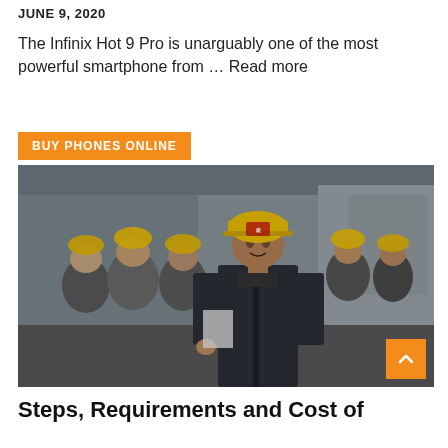JUNE 9, 2020
The Infinix Hot 9 Pro is unarguably one of the most powerful smartphone from … Read more
BUY PHONES ONLINE
[Figure (photo): Group of construction workers wearing yellow hard hats walking forward, led by a man in a dark zip-up jacket.]
Steps, Requirements and Cost of